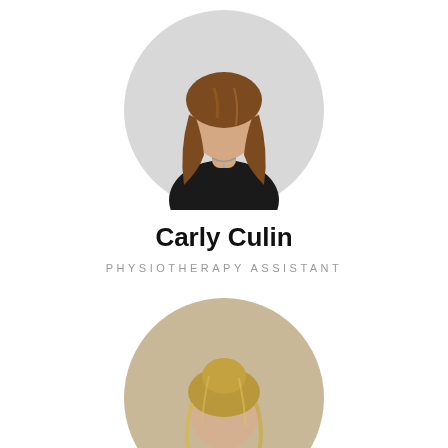[Figure (photo): Circular profile photo of Carly Culin, a woman with long wavy auburn/brown hair wearing a black top, photographed against a light grey background.]
Carly Culin
PHYSIOTHERAPY ASSISTANT
[Figure (photo): Circular profile photo of a second woman with blonde/brown hair, photographed against a light beige/grey background, partially visible (cropped at bottom of page).]